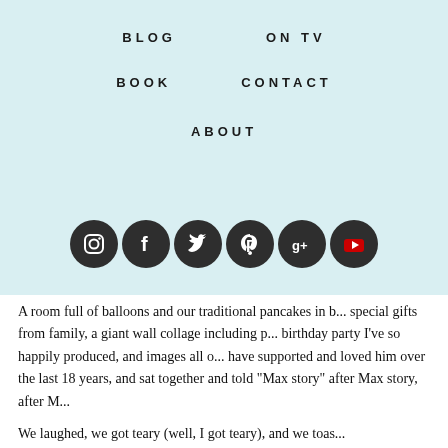BLOG   ON TV
BOOK   CONTACT
ABOUT
[Figure (infographic): Row of 6 dark circular social media icons: Instagram, Facebook, Twitter, Pinterest, Google+, YouTube]
A room full of balloons and our traditional pancakes in b... special gifts from family, a giant wall collage including p... birthday party I've so happily produced, and images all o... have supported and loved him over the last 18 years, and ... sat together and told "Max story" after Max story, after M...
We laughed, we got teary (well, I got teary), and we toas...